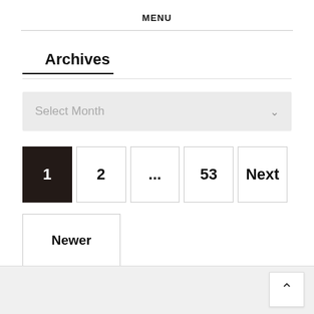MENU
Archives
Select Month
1  2  ...  53  Next
Newer